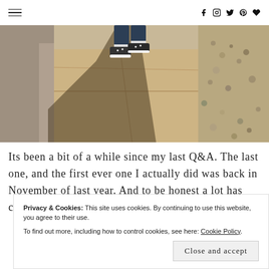Navigation menu and social icons (Facebook, Instagram, Twitter, Pinterest, heart/bloglovin)
[Figure (photo): Outdoor photo showing feet/shoes (sneakers) of a person walking on a flat stone pavement path, with a strong shadow cast to the left, stone curb on the left side and gravel/pebbles on the right. Sandy warm tones.]
Its been a bit of a while since my last Q&A. The last one, and the first ever one I actually did was back in November of last year. And to be honest a lot has changed since then.
Privacy & Cookies: This site uses cookies. By continuing to use this website, you agree to their use.
To find out more, including how to control cookies, see here: Cookie Policy
Close and accept